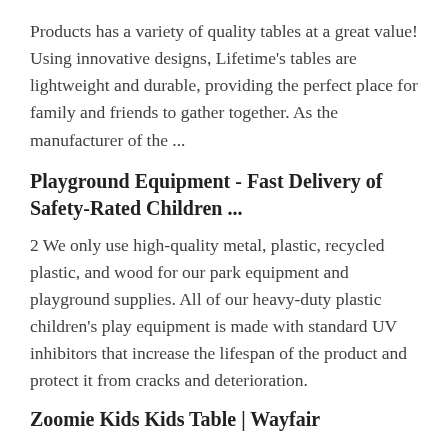Products has a variety of quality tables at a great value! Using innovative designs, Lifetime’s tables are lightweight and durable, providing the perfect place for family and friends to gather together. As the manufacturer of the ...
Playground Equipment - Fast Delivery of Safety-Rated Children ...
2 We only use high-quality metal, plastic, recycled plastic, and wood for our park equipment and playground supplies. All of our heavy-duty plastic children's play equipment is made with standard UV inhibitors that increase the lifespan of the product and protect it from cracks and deterioration.
Zoomie Kids Kids Table | Wayfair
2 Height Adjustable Children's Desk And Chair Set, Adjustable Table Top, LED LightProduct